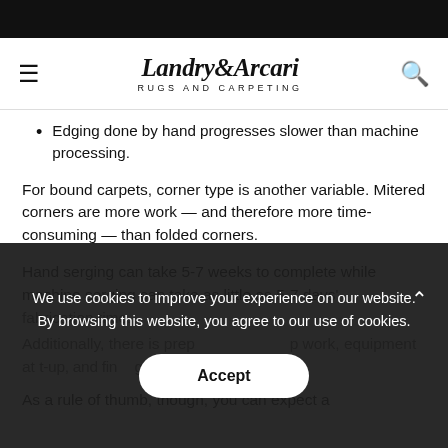Landry & Arcari RUGS AND CARPETING
Edging done by hand progresses slower than machine processing.
For bound carpets, corner type is another variable. Mitered corners are more work — and therefore more time-consuming — than folded corners.
Hand serging can take 5-7 weeks to complete while machine serging can take as little as 5-7 days' fabrication time.
Additionally, there is prep work, equipment and tool set-up, and finishing tasks.
As a rule of thumb, though, you can expect a
We use cookies to improve your experience on our website. By browsing this website, you agree to our use of cookies.